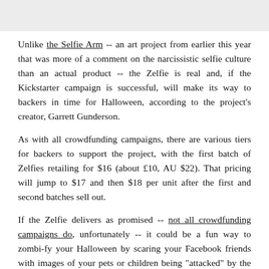[Figure (photo): Partial image visible at top of page, cropped]
Unlike the Selfie Arm -- an art project from earlier this year that was more of a comment on the narcissistic selfie culture than an actual product -- the Zelfie is real and, if the Kickstarter campaign is successful, will make its way to backers in time for Halloween, according to the project's creator, Garrett Gunderson.
As with all crowdfunding campaigns, there are various tiers for backers to support the project, with the first batch of Zelfies retailing for $16 (about £10, AU $22). That pricing will jump to $17 and then $18 per unit after the first and second batches sell out.
If the Zelfie delivers as promised -- not all crowdfunding campaigns do, unfortunately -- it could be a fun way to zombi-fy your Halloween by scaring your Facebook friends with images of your pets or children being "attacked" by the undead.